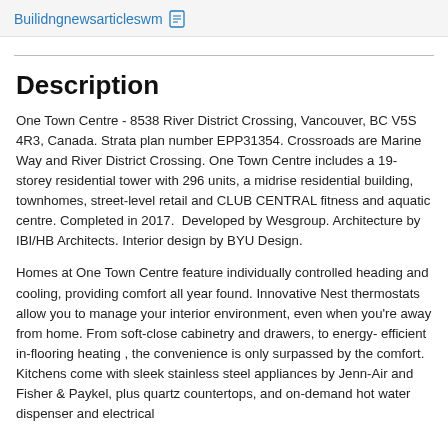Builidngnewsarticleswm
Description
One Town Centre - 8538 River District Crossing, Vancouver, BC V5S 4R3, Canada. Strata plan number EPP31354. Crossroads are Marine Way and River District Crossing. One Town Centre includes a 19-storey residential tower with 296 units, a midrise residential building, townhomes, street-level retail and CLUB CENTRAL fitness and aquatic centre. Completed in 2017.  Developed by Wesgroup. Architecture by IBI/HB Architects. Interior design by BYU Design.
Homes at One Town Centre feature individually controlled heading and cooling, providing comfort all year found. Innovative Nest thermostats allow you to manage your interior environment, even when you're away from home. From soft-close cabinetry and drawers, to energy- efficient in-flooring heating , the convenience is only surpassed by the comfort. Kitchens come with sleek stainless steel appliances by Jenn-Air and Fisher & Paykel, plus quartz countertops, and on-demand hot water dispenser and electrical